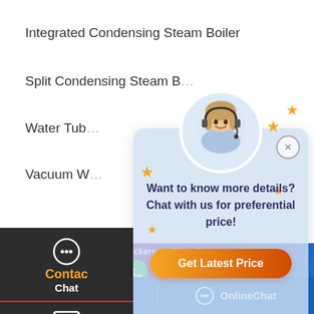Integrated Condensing Steam Boiler
Split Condensing Steam B…
Water Tub…
Vacuum W…
[Figure (screenshot): Chat widget sidebar with Chat, Email, Contact icons on dark background]
[Figure (screenshot): Chat popup overlay with customer service avatar, stars decoration, text 'Want to know more details? Chat with us for preferential price!' and orange 'Get Latest Price' button]
+0086-371-60922096
er Manufacturer All rights reserved.
[Figure (screenshot): Save Stickers on WhatsApp overlay with phone and emoji icons on purple-blue gradient]
[Figure (screenshot): Bottom blue bar with Leave Message and OnlineChat buttons]